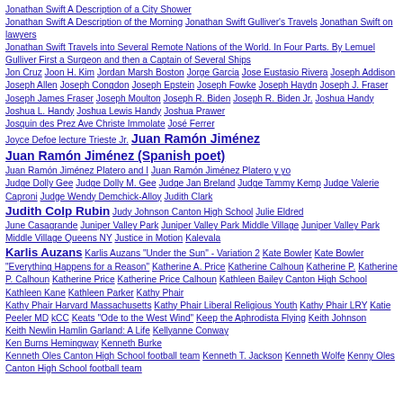Jonathan Swift A Description of a City Shower
Jonathan Swift A Description of the Morning Jonathan Swift Gulliver's Travels Jonathan Swift on lawyers
Jonathan Swift Travels into Several Remote Nations of the World. In Four Parts. By Lemuel Gulliver First a Surgeon and then a Captain of Several Ships
Jon Cruz Joon H. Kim Jordan Marsh Boston Jorge Garcia Jose Eustasio Rivera Joseph Addison Joseph Allen Joseph Congdon Joseph Epstein Joseph Fowke Joseph Haydn Joseph J. Fraser Joseph James Fraser Joseph Moulton Joseph R. Biden Joseph R. Biden Jr. Joshua Handy Joshua L. Handy Joshua Lewis Handy Joshua Prawer
Josquin des Prez Ave Christe Immolate José Ferrer
Joyce Defoe lecture Trieste Jr. Juan Ramón Jiménez
Juan Ramón Jiménez (Spanish poet)
Juan Ramón Jiménez Platero and I Juan Ramón Jiménez Platero y yo
Judge Dolly Gee Judge Dolly M. Gee Judge Jan Breland Judge Tammy Kemp Judge Valerie Caproni Judge Wendy Demchick-Alloy Judith Clark
Judith Colp Rubin Judy Johnson Canton High School Julie Eldred
June Casagrande Juniper Valley Park Juniper Valley Park Middle Village Juniper Valley Park Middle Village Queens NY Justice in Motion Kalevala
Karlis Auzans Karlis Auzans "Under the Sun" - Variation 2 Kate Bowler Kate Bowler "Everything Happens for a Reason" Katherine A. Price Katherine Calhoun Katherine P. Katherine P. Calhoun Katherine Price Katherine Price Calhoun Kathleen Bailey Canton High School
Kathleen Kane Kathleen Parker Kathy Phair
Kathy Phair Harvard Massachusetts Kathy Phair Liberal Religious Youth Kathy Phair LRY Katie Peeler MD kCC Keats "Ode to the West Wind" Keep the Aphrodista Flying Keith Johnson
Keith Newlin Hamlin Garland: A Life Kellyanne Conway
Ken Burns Hemingway Kenneth Burke
Kenneth Oles Canton High School football team Kenneth T. Jackson Kenneth Wolfe Kenny Oles Canton High School football team